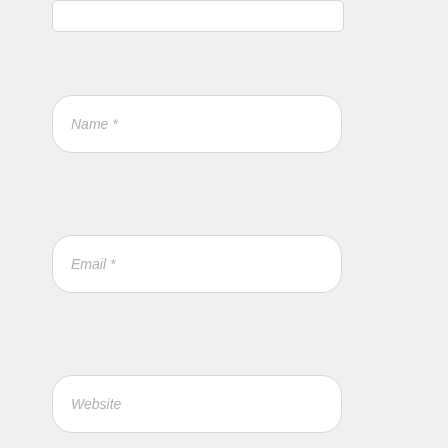[Figure (screenshot): Partial web form showing top edge of a textarea field, followed by Name, Email, and Website input fields, and a checkbox labeled 'Save my name, email, and website in this browser for the next time I co']
Name *
Email *
Website
Save my name, email, and website in this browser for the next time I co